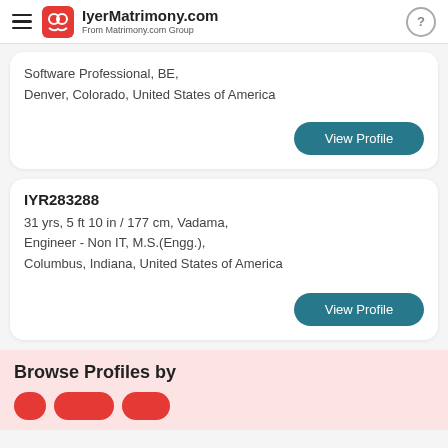IyerMatrimony.com — From Matrimony.com Group
Software Professional, BE,
Denver, Colorado, United States of America
View Profile
IYR283288
31 yrs, 5 ft 10 in / 177 cm, Vadama,
Engineer - Non IT, M.S.(Engg.),
Columbus, Indiana, United States of America
View Profile
Browse Profiles by